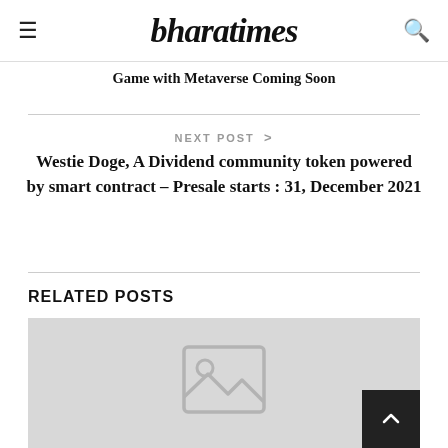bharatimes
Game with Metaverse Coming Soon
NEXT POST >
Westie Doge, A Dividend community token powered by smart contract – Presale starts : 31, December 2021
RELATED POSTS
[Figure (photo): Placeholder image box with image icon]